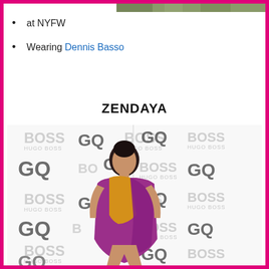[Figure (photo): Partial top image of a person at NYFW, cropped at top of page]
at NYFW
Wearing Dennis Basso
ZENDAYA
[Figure (photo): Zendaya posing on a GQ and BOSS Hugo Boss branded step-and-repeat backdrop, wearing a purple and gold/yellow one-shoulder draped gown]